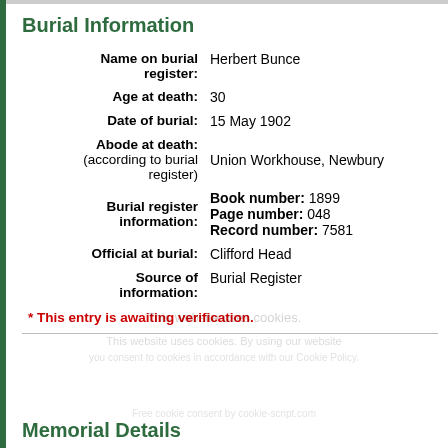Burial Information
| Field | Value |
| --- | --- |
| Name on burial register: | Herbert Bunce |
| Age at death: | 30 |
| Date of burial: | 15 May 1902 |
| Abode at death: (according to burial register) | Union Workhouse, Newbury |
| Burial register information: | Book number: 1899
Page number: 048
Record number: 7581 |
| Official at burial: | Clifford Head |
| Source of information: | Burial Register |
* This entry is awaiting verification.
Memorial Details